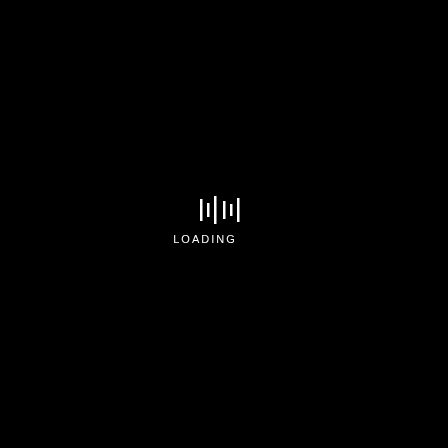[Figure (other): Black background with a loading screen indicator: vertical bar equalizer/audio bars icon above the text 'LOADING' in white uppercase letters on a pure black background.]